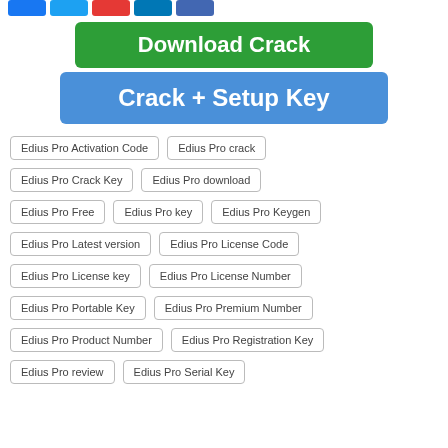[Figure (other): Row of colored social share buttons at top]
[Figure (other): Green button labeled 'Download Crack']
[Figure (other): Blue button labeled 'Crack + Setup Key']
Edius Pro Activation Code
Edius Pro crack
Edius Pro Crack Key
Edius Pro download
Edius Pro Free
Edius Pro key
Edius Pro Keygen
Edius Pro Latest version
Edius Pro License Code
Edius Pro License key
Edius Pro License Number
Edius Pro Portable Key
Edius Pro Premium Number
Edius Pro Product Number
Edius Pro Registration Key
Edius Pro review
Edius Pro Serial Key